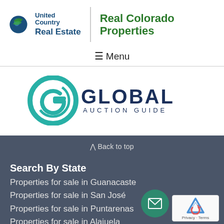[Figure (logo): United Country Real Estate logo with globe icon]
Real Colorado Properties
≡ Menu
[Figure (logo): Global Auction Guide logo with teal G icon and dark blue text]
∧ Back to top
Search By State
Properties for sale in Guanacaste
Properties for sale in San José
Properties for sale in Puntarenas
Properties for sale in Alajuela
Properties for sale in Colorado
Properties for sale in Kentucky